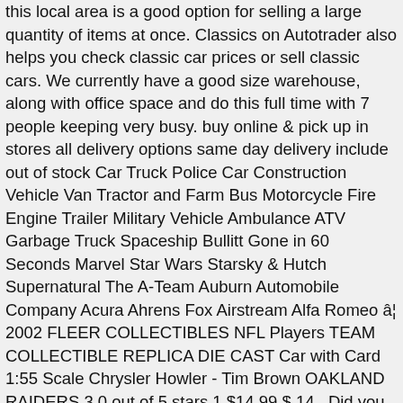this local area is a good option for selling a large quantity of items at once. Classics on Autotrader also helps you check classic car prices or sell classic cars. We currently have a good size warehouse, along with office space and do this full time with 7 people keeping very busy. buy online & pick up in stores all delivery options same day delivery include out of stock Car Truck Police Car Construction Vehicle Van Tractor and Farm Bus Motorcycle Fire Engine Trailer Military Vehicle Ambulance ATV Garbage Truck Spaceship Bullitt Gone in 60 Seconds Marvel Star Wars Starsky & Hutch Supernatural The A-Team Auburn Automobile Company Acura Ahrens Fox Airstream Alfa Romeo â¦ 2002 FLEER COLLECTIBLES NFL Players TEAM COLLECTIBLE REPLICA DIE CAST Car with Card 1:55 Scale Chrysler Howler - Tim Brown OAKLAND RAIDERS 3.0 out of 5 stars 1 $14.99 $ 14 . Did you scroll all this way to get facts about car memorabilia? 8111 Concord Mills Blvd. Concord, NC 28027. More Than Just Cars. Get all the very best NASCAR collectibles and memorabilia you will find online at NASCAR Shop. There are 16673 car memorabilia for sale on Etsy.